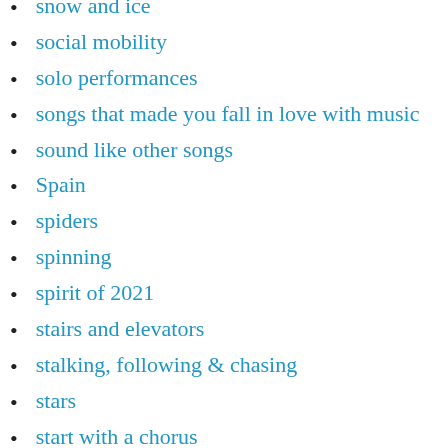snow and ice
social mobility
solo performances
songs that made you fall in love with music
sound like other songs
Spain
spiders
spinning
spirit of 2021
stairs and elevators
stalking, following & chasing
stars
start with a chorus
starting fires
starting the morning
staying